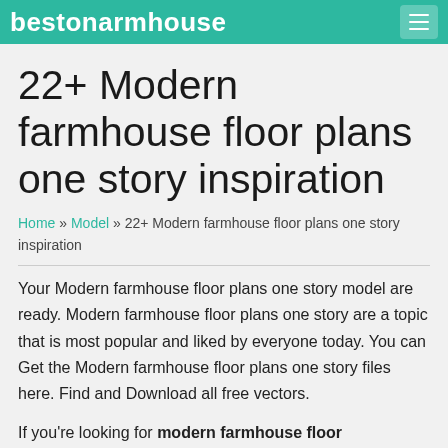bestonarmhouse
22+ Modern farmhouse floor plans one story inspiration
Home » Model » 22+ Modern farmhouse floor plans one story inspiration
Your Modern farmhouse floor plans one story model are ready. Modern farmhouse floor plans one story are a topic that is most popular and liked by everyone today. You can Get the Modern farmhouse floor plans one story files here. Find and Download all free vectors.
If you're looking for modern farmhouse floor plans one story pictures information related to the modern farmhouse floor plans one story keyword, you have